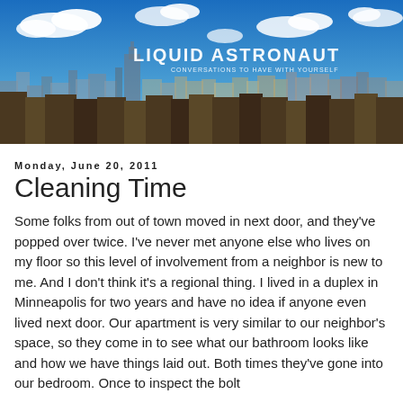[Figure (photo): Blog header banner showing a city skyline (New York City) under a blue sky with clouds. White bold text overlaid reads 'LIQUID ASTRONAUT' with a subtitle 'CONVERSATIONS TO HAVE WITH YOURSELF'.]
Monday, June 20, 2011
Cleaning Time
Some folks from out of town moved in next door, and they've popped over twice. I've never met anyone else who lives on my floor so this level of involvement from a neighbor is new to me. And I don't think it's a regional thing. I lived in a duplex in Minneapolis for two years and have no idea if anyone even lived next door. Our apartment is very similar to our neighbor's space, so they come in to see what our bathroom looks like and how we have things laid out. Both times they've gone into our bedroom. Once to inspect the bolt